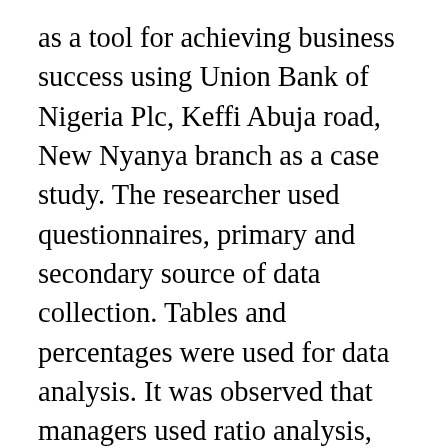as a tool for achieving business success using Union Bank of Nigeria Plc, Keffi Abuja road, New Nyanya branch as a case study. The researcher used questionnaires, primary and secondary source of data collection. Tables and percentages were used for data analysis. It was observed that managers used ratio analysis, portfolio analysis and break even analysis as management tools. It is recommended that organization should properly met irate their managers to avoid low profitability for the achievement of its goals and objectives. And also the manager should be recognized and